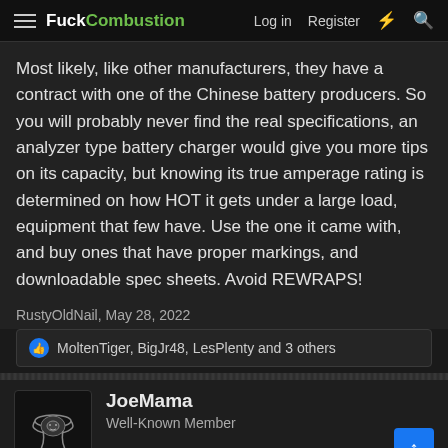FuckCombustion — Log in  Register
Most likely, like other manufacturers, they have a contract with one of the Chinese battery producers. So you will probably never find the real specifications, an analyzer type battery charger would give you more tips on its capacity, but knowing its true amperage rating is determined on how HOT it gets under a large load, equipment that few have. Use the one it came with, and buy ones that have proper markings, and downloadable spec sheets. Avoid REWRAPS!
RustyOldNail, May 28, 2022
MoltenTiger, BigJr48, LesPlenty and 3 others
JoeMama
Well-Known Member
May 28, 2022
RustyOldNail said: